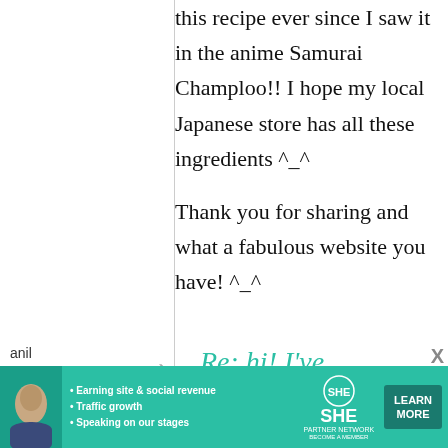this recipe ever since I saw it in the anime Samurai Champloo!! I hope my local Japanese store has all these ingredients ^_^ Thank you for sharing and what a fabulous website you have! ^_^
anil
1 April,
Re: hi! I've
[Figure (infographic): Advertisement banner for SHE Media Partner Network. Features a woman's photo, bullet points: Earning site & social revenue, Traffic growth, Speaking on our stages. SHE logo with PARTNER NETWORK and BECOME A MEMBER tagline. LEARN MORE button.]